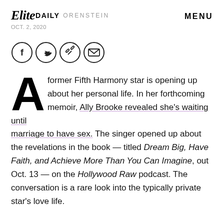Elite Daily ORENSTEIN | OCT. 2, 2020 | MENU
[Figure (infographic): Four social share icon circles: Facebook (f), Twitter (bird), link/chain, envelope/email]
A former Fifth Harmony star is opening up about her personal life. In her forthcoming memoir, Ally Brooke revealed she's waiting until marriage to have sex. The singer opened up about the revelations in the book — titled Dream Big, Have Faith, and Achieve More Than You Can Imagine, out Oct. 13 — on the Hollywood Raw podcast. The conversation is a rare look into the typically private star's love life.